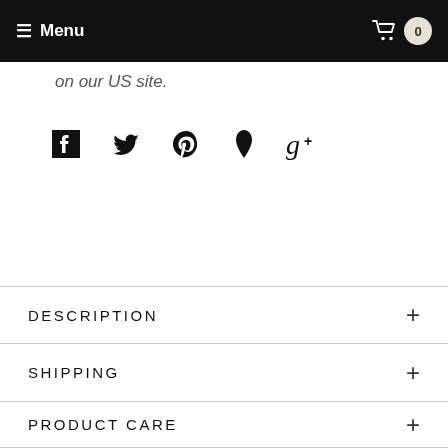Menu | 0
on our US site.
[Figure (other): Social media share icons: Facebook, Twitter, Pinterest, Fancy/Polyvore, Google+]
DESCRIPTION
SHIPPING
PRODUCT CARE